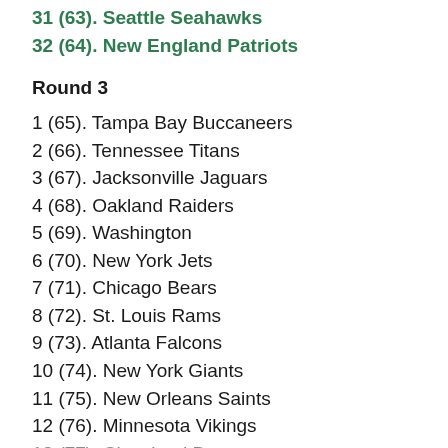31 (63). Seattle Seahawks
32 (64). New England Patriots
Round 3
1 (65). Tampa Bay Buccaneers
2 (66). Tennessee Titans
3 (67). Jacksonville Jaguars
4 (68). Oakland Raiders
5 (69). Washington
6 (70). New York Jets
7 (71). Chicago Bears
8 (72). St. Louis Rams
9 (73). Atlanta Falcons
10 (74). New York Giants
11 (75). New Orleans Saints
12 (76). Minnesota Vikings
13 (77). Cleveland Browns